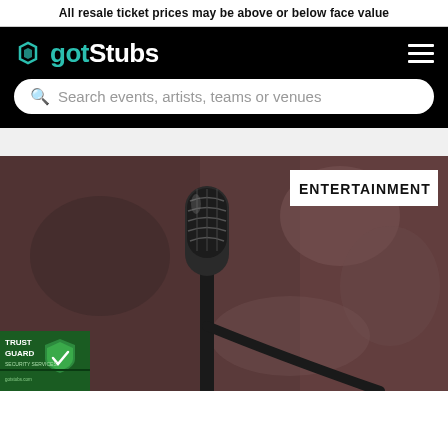All resale ticket prices may be above or below face value
gotStubs
Search events, artists, teams or venues
[Figure (photo): Close-up photo of a microphone on a stand against a blurred dark reddish background. An 'ENTERTAINMENT' label badge is in the top right corner. A TrustGuard security badge is in the bottom left corner.]